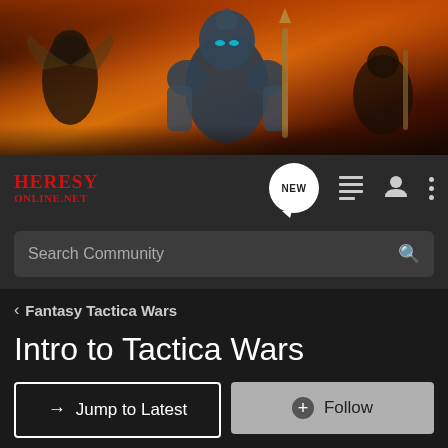[Figure (illustration): Fantasy battle scene banner with warriors, armored figures, and fire/lightning in dark orange and red tones]
[Figure (logo): Heresy Online .net logo in red serif font]
Search Community
< Fantasy Tactica Wars
Intro to Tactica Wars
→ Jump to Latest
+ Follow
Not open for further replies.
1 - 1 of 1 Posts